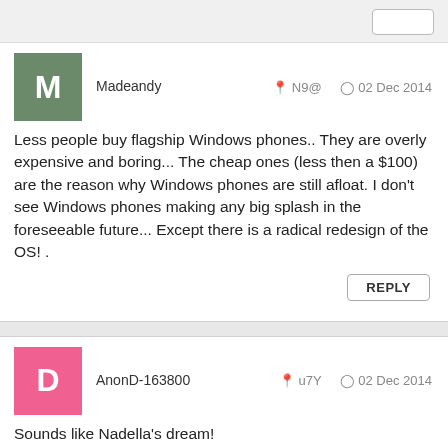Madeandy
N9@  02 Dec 2014
Less people buy flagship Windows phones.. They are overly expensive and boring... The cheap ones (less then a $100) are the reason why Windows phones are still afloat. I don't see Windows phones making any big splash in the foreseeable future... Except there is a radical redesign of the OS! .
REPLY
AnonD-163800
u7Y  02 Dec 2014
Sounds like Nadella's dream!
REPLY